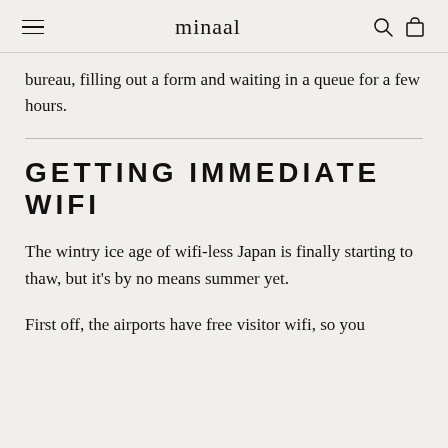minaal
bureau, filling out a form and waiting in a queue for a few hours.
GETTING IMMEDIATE WIFI
The wintry ice age of wifi-less Japan is finally starting to thaw, but it's by no means summer yet.
First off, the airports have free visitor wifi, so you